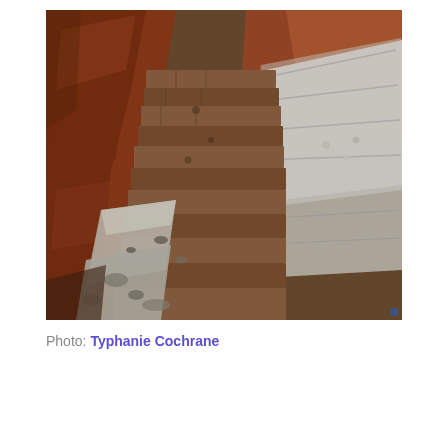[Figure (photo): Archaeological excavation site showing stone walls and brick structures being unearthed. The dig reveals layered ancient stonework steps and walls in reddish-brown earth, with white fabric/covers visible on the right side protecting the artifacts. The excavation trench shows exposed soil and rubble along the left side.]
Photo: Typhanie Cochrane